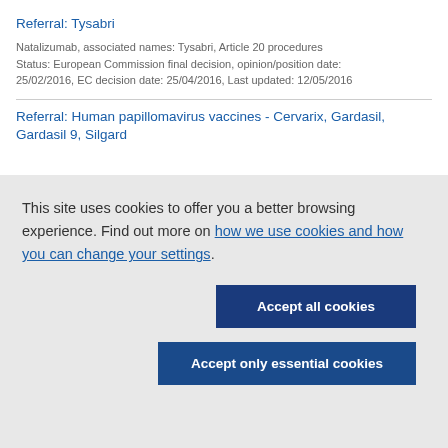Referral: Tysabri
Natalizumab, associated names: Tysabri, Article 20 procedures
Status: European Commission final decision, opinion/position date: 25/02/2016, EC decision date: 25/04/2016, Last updated: 12/05/2016
Referral: Human papillomavirus vaccines - Cervarix, Gardasil, Gardasil 9, Silgard
This site uses cookies to offer you a better browsing experience. Find out more on how we use cookies and how you can change your settings.
Accept all cookies
Accept only essential cookies